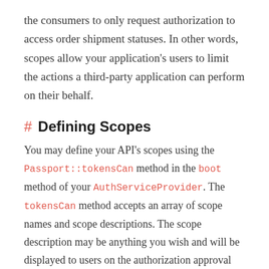the consumers to only request authorization to access order shipment statuses. In other words, scopes allow your application's users to limit the actions a third-party application can perform on their behalf.
# Defining Scopes
You may define your API's scopes using the Passport::tokensCan method in the boot method of your AuthServiceProvider. The tokensCan method accepts an array of scope names and scope descriptions. The scope description may be anything you wish and will be displayed to users on the authorization approval screen: